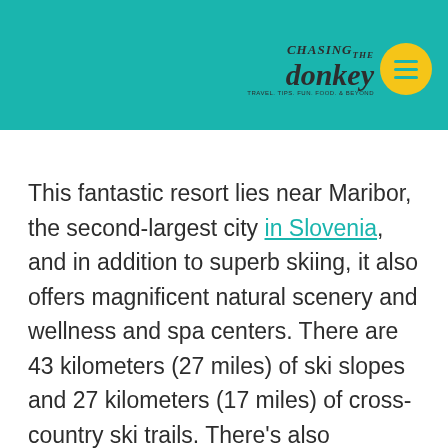[Figure (logo): Chasing the Donkey travel blog logo and navigation menu on teal header bar]
This fantastic resort lies near Maribor, the second-largest city in Slovenia, and in addition to superb skiing, it also offers magnificent natural scenery and wellness and spa centers. There are 43 kilometers (27 miles) of ski slopes and 27 kilometers (17 miles) of cross-country ski trails. There's also exceptional skiing and snowboarding